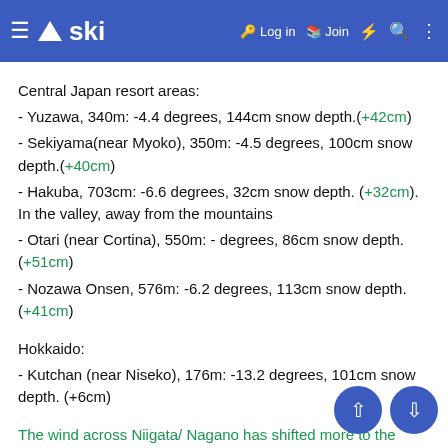≡ ▲ski | Log in  Join  ⚡ 🔍 ⋮
Central Japan resort areas:
- Yuzawa, 340m: -4.4 degrees, 144cm snow depth.(+42cm)
- Sekiyama(near Myoko), 350m: -4.5 degrees, 100cm snow depth.(+40cm)
- Hakuba, 703cm: -6.6 degrees, 32cm snow depth. (+32cm). In the valley, away from the mountains
- Otari (near Cortina), 550m: - degrees, 86cm snow depth. (+51cm)
- Nozawa Onsen, 576m: -6.2 degrees, 113cm snow depth. (+41cm)
Hokkaido:
- Kutchan (near Niseko), 176m: -13.2 degrees, 101cm snow depth. (+6cm)
The wind across Niigata/ Nagano has shifted more to the west for the moment. The snow eased off about midnight it will shift more to the north again later today.